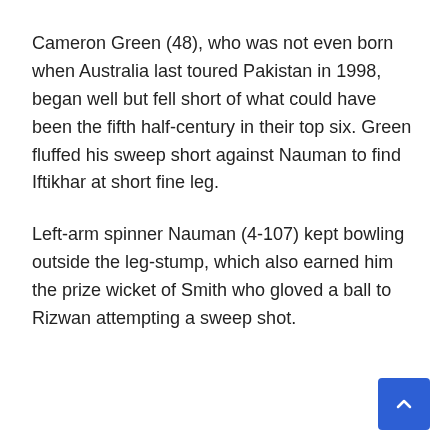Cameron Green (48), who was not even born when Australia last toured Pakistan in 1998, began well but fell short of what could have been the fifth half-century in their top six. Green fluffed his sweep short against Nauman to find Iftikhar at short fine leg.
Left-arm spinner Nauman (4-107) kept bowling outside the leg-stump, which also earned him the prize wicket of Smith who gloved a ball to Rizwan attempting a sweep shot.